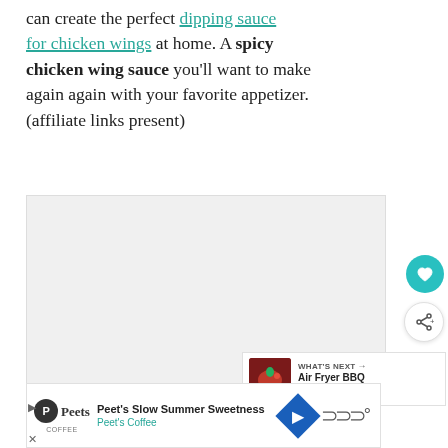can create the perfect dipping sauce for chicken wings at home. A spicy chicken wing sauce you'll want to make again again with your favorite appetizer. (affiliate links present)
[Figure (photo): Large light gray image placeholder area, likely a food photo]
[Figure (other): WHAT'S NEXT panel with thumbnail of food item and text: Air Fryer BBQ Chicken...]
[Figure (other): Advertisement bar: Peet's Slow Summer Sweetness - Peet's Coffee]